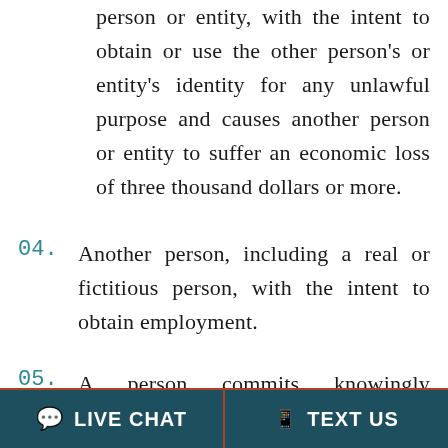without the consent of that other person or entity, with the intent to obtain or use the other person's or entity's identity for any unlawful purpose and causes another person or entity to suffer an economic loss of three thousand dollars or more.
04. Another person, including a real or fictitious person, with the intent to obtain employment.
05. A person commits knowingly accepting the identity of another person if the
LIVE CHAT   TEXT US